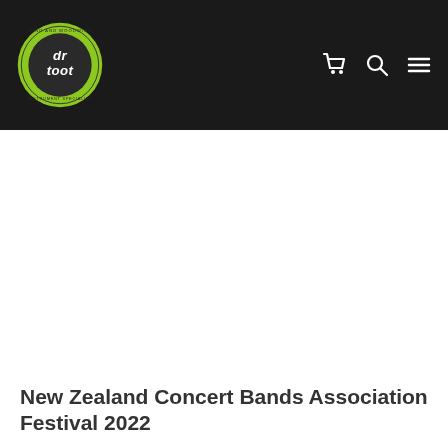dr toot — navigation header with logo, cart, search, and menu icons
New Zealand Concert Bands Association Festival 2022